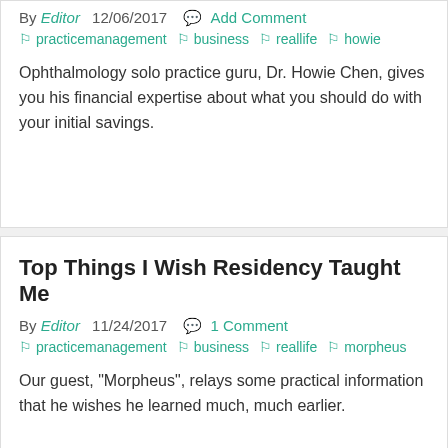By Editor  12/06/2017  Add Comment
  practicemanagement  business  reallife  howie
Ophthalmology solo practice guru, Dr. Howie Chen, gives you his financial expertise about what you should do with your initial savings.
Top Things I Wish Residency Taught Me
By Editor  11/24/2017  1 Comment
  practicemanagement  business  reallife  morpheus
Our guest, "Morpheus", relays some practical information that he wishes he learned much, much earlier.